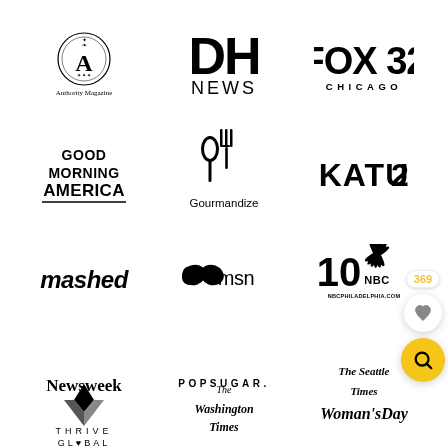[Figure (logo): Grid of media outlet logos: Authority Magazine, DH News, FOX 32 Chicago, Good Morning America, Gourmandize, KATU 2, mashed, msn, NBC10 Philadelphia, Newsweek, POPSUGAR, The Seattle Times, Thrive Global, The Washington Times, Woman's Day]
369